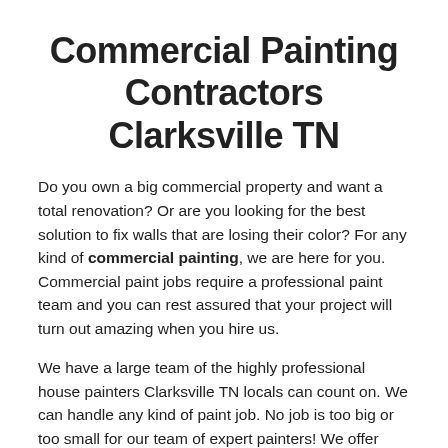Commercial Painting Contractors Clarksville TN
Do you own a big commercial property and want a total renovation? Or are you looking for the best solution to fix walls that are losing their color? For any kind of commercial painting, we are here for you. Commercial paint jobs require a professional paint team and you can rest assured that your project will turn out amazing when you hire us.
We have a large team of the highly professional house painters Clarksville TN locals can count on. We can handle any kind of paint job. No job is too big or too small for our team of expert painters! We offer interior and exterior options for commercial painting service. We will work with your schedule and